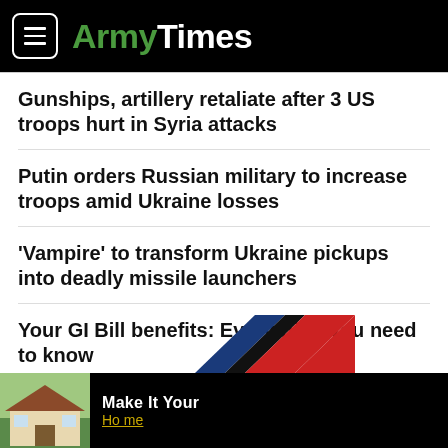ArmyTimes
Gunships, artillery retaliate after 3 US troops hurt in Syria attacks
Putin orders Russian military to increase troops amid Ukraine losses
'Vampire' to transform Ukraine pickups into deadly missile launchers
Your GI Bill benefits: Everything you need to know
[Figure (other): Partial flag/logo graphic with blue, black, and red diagonal stripes]
[Figure (other): Advertisement banner: house photo with text 'Make It Your Home']